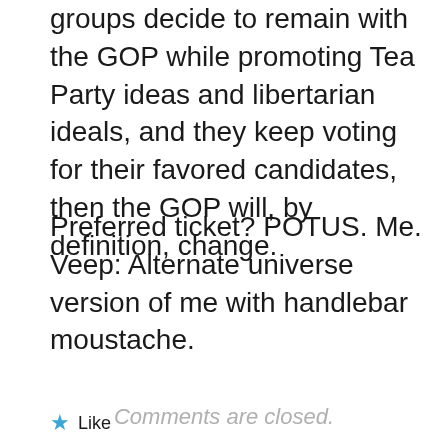groups decide to remain with the GOP while promoting Tea Party ideas and libertarian ideals, and they keep voting for their favored candidates, then the GOP will, by definition, change.
Preferred ticket? POTUS. Me. Veep: Alternate universe version of me with handlebar moustache.
★ Like
Comments are closed.